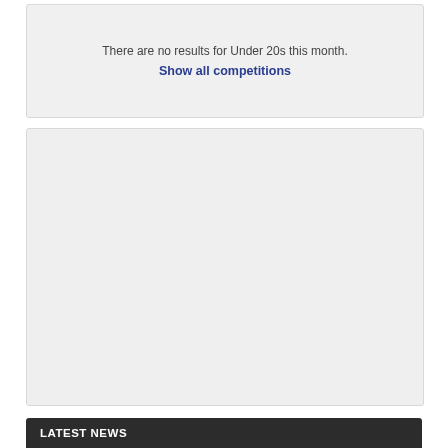There are no results for Under 20s this month.
Show all competitions
[Figure (other): Empty grey placeholder box]
LATEST NEWS